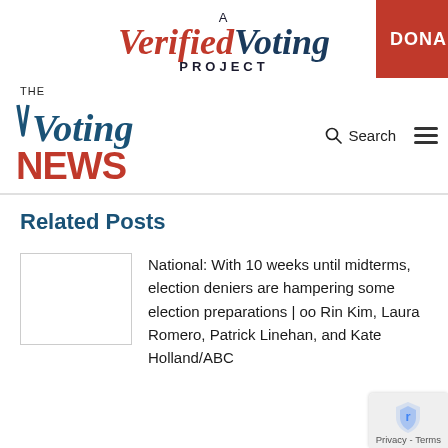[Figure (logo): A Verified Voting Project logo with red and blue text, and a red DONATE button on the right]
[Figure (logo): The Voting News logo with blue italic 'Voting' and red bold 'NEWS', with Search and hamburger menu on right]
Related Posts
National: With 10 weeks until midterms, election deniers are hampering some election preparations | oo Rin Kim, Laura Romero, Patrick Linehan, and Kate Holland/ABC